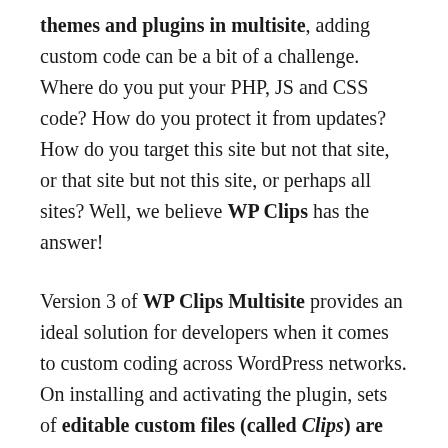themes and plugins in multisite, adding custom code can be a bit of a challenge. Where do you put your PHP, JS and CSS code? How do you protect it from updates? How do you target this site but not that site, or that site but not this site, or perhaps all sites? Well, we believe WP Clips has the answer!
Version 3 of WP Clips Multisite provides an ideal solution for developers when it comes to custom coding across WordPress networks. On installing and activating the plugin, sets of editable custom files (called Clips) are added to the network and to each of the individual blogs or sites. And if a